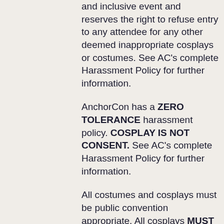and inclusive event and reserves the right to refuse entry to any attendee for any other deemed inappropriate cosplays or costumes. See AC's complete Harassment Policy for further information.
AnchorCon has a ZERO TOLERANCE harassment policy. COSPLAY IS NOT CONSENT. See AC's complete Harassment Policy for further information.
All costumes and cosplays must be public convention appropriate. All cosplays MUST cover body areas covered by regular age-appropriate swimwear attire. Genitals and upper torso of all expressions of gender must be covered. Management reserves the right to refuse entry for any over-sexualized imagery or portrayal of characters. AnchorCon is a family-